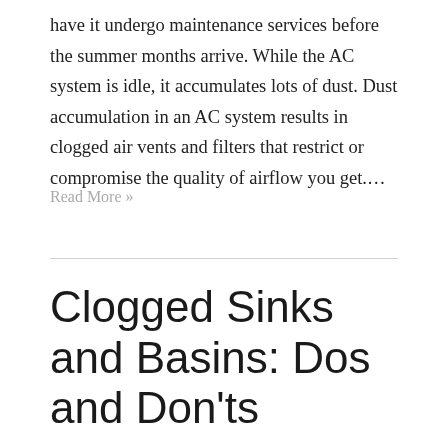have it undergo maintenance services before the summer months arrive. While the AC system is idle, it accumulates lots of dust. Dust accumulation in an AC system results in clogged air vents and filters that restrict or compromise the quality of airflow you get.…
Read More »
Clogged Sinks and Basins: Dos and Don'ts